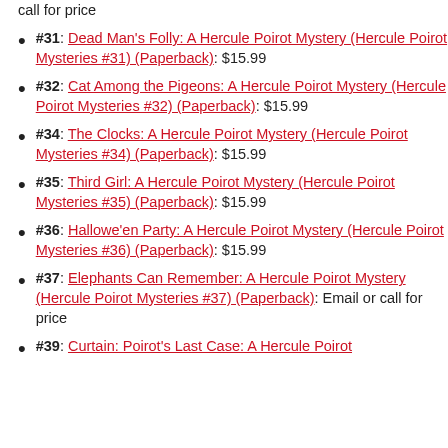call for price
#31: Dead Man's Folly: A Hercule Poirot Mystery (Hercule Poirot Mysteries #31) (Paperback): $15.99
#32: Cat Among the Pigeons: A Hercule Poirot Mystery (Hercule Poirot Mysteries #32) (Paperback): $15.99
#34: The Clocks: A Hercule Poirot Mystery (Hercule Poirot Mysteries #34) (Paperback): $15.99
#35: Third Girl: A Hercule Poirot Mystery (Hercule Poirot Mysteries #35) (Paperback): $15.99
#36: Hallowe'en Party: A Hercule Poirot Mystery (Hercule Poirot Mysteries #36) (Paperback): $15.99
#37: Elephants Can Remember: A Hercule Poirot Mystery (Hercule Poirot Mysteries #37) (Paperback): Email or call for price
#39: Curtain: Poirot's Last Case: A Hercule Poirot